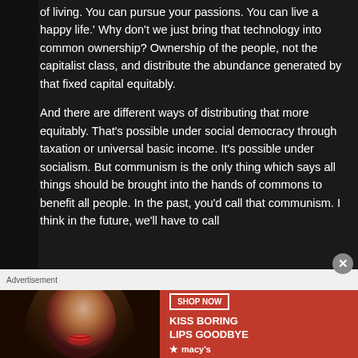of living. You can pursue your passions. You can live a happy life.' Why don't we just bring that technology into common ownership? Ownership of the people, not the capitalist class, and distribute the abundance generated by that fixed capital equitably.
And there are different ways of distributing that more equitably. That's possible under social democracy through taxation or universal basic income. It's possible under socialism. But communism is the only thing which says all things should be brought into the hands of commons to benefit all people. In the past, you'd call that communism. I think in the future, we'll have to call
Advertisement
[Figure (photo): Advertisement banner for Macy's cosmetics: 'KISS BORING LIPS GOODBYE' with SHOP NOW button and Macy's logo, showing a woman's face with red lips]